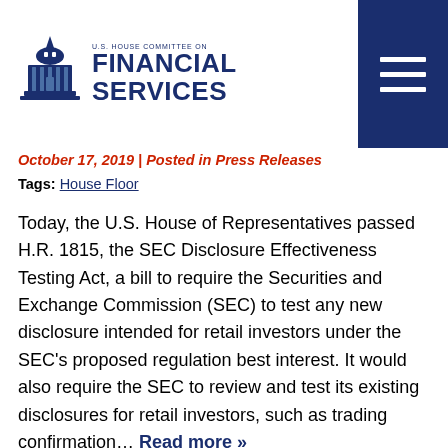[Figure (logo): U.S. House Committee on Financial Services logo with capitol building icon and text]
October 17, 2019 | Posted in Press Releases
Tags: House Floor
Today, the U.S. House of Representatives passed H.R. 1815, the SEC Disclosure Effectiveness Testing Act, a bill to require the Securities and Exchange Commission (SEC) to test any new disclosure intended for retail investors under the SEC’s proposed regulation best interest. It would also require the SEC to review and test its existing disclosures for retail investors, such as trading confirmation… Read more »